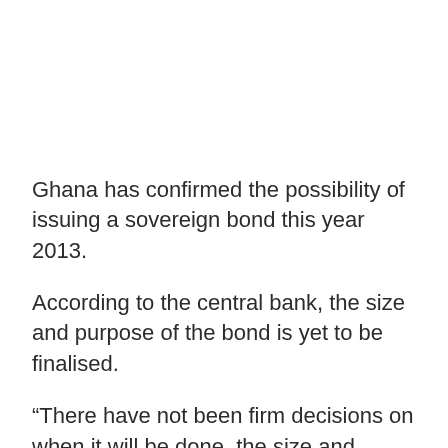Ghana has confirmed the possibility of issuing a sovereign bond this year 2013.
According to the central bank, the size and purpose of the bond is yet to be finalised.
“There have not been firm decisions on when it will be done, the size and purpose of it,” Bank of Ghana Governor Dr Kofi Wampah said in Accra last week May 8, 2013 during the launch of the Collateral Registry.